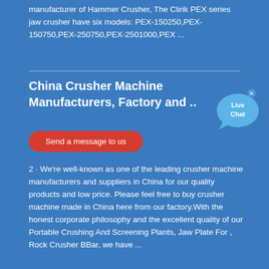manufacturer of Hammer Crusher, The Clirik PEX series jaw crusher have six models: PEX-150250,PEX-150750,PEX-250750,PEX-2501000,PEX ...
China Crusher Machine Manufacturers, Factory and ..
[Figure (illustration): Live Chat widget — a blue speech bubble icon with white text reading 'Live Chat' and a small 'x' close button in top right corner]
Send a message to us
2 · We're well-known as one of the leading crusher machine manufacturers and suppliers in China for our quality products and low price. Please feel free to buy crusher machine made in China here from our factory.With the honest corporate philosophy and the excellent quality of our Portable Crushing And Screening Plants, Jaw Plate For , Rock Crusher BBar, we have ...